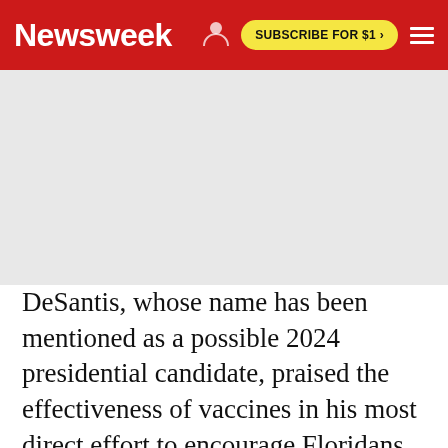Newsweek | SUBSCRIBE FOR $1 >
[Figure (other): Advertisement/banner area (gray placeholder)]
DeSantis, whose name has been mentioned as a possible 2024 presidential candidate, praised the effectiveness of vaccines in his most direct effort to encourage Floridans to get vaccinated in a press conference Wednesday